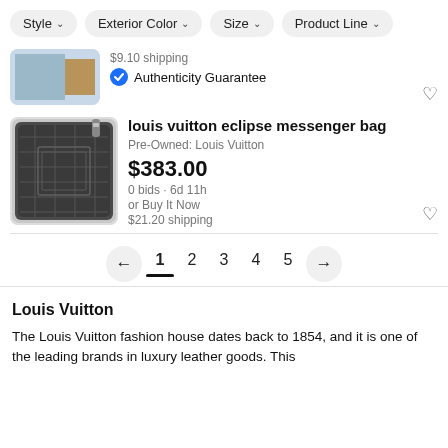Style | Exterior Color | Size | Product Line
$9.10 shipping
Authenticity Guarantee
louis vuitton eclipse messenger bag
Pre-Owned: Louis Vuitton
$383.00
0 bids · 6d 11h
or Buy It Now
$21.20 shipping
1 2 3 4 5
Louis Vuitton
The Louis Vuitton fashion house dates back to 1854, and it is one of the leading brands in luxury leather goods. This